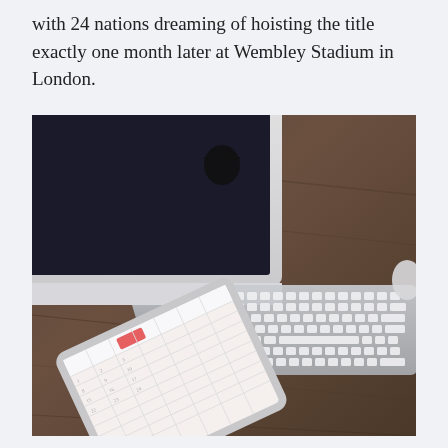with 24 nations dreaming of hoisting the title exactly one month later at Wembley Stadium in London.
[Figure (photo): A photo of an Apple iMac computer on a dark wood desk alongside an Apple wireless keyboard, an iPad displaying a calendar app, and what appears to be a mouse partially visible in the upper right corner.]